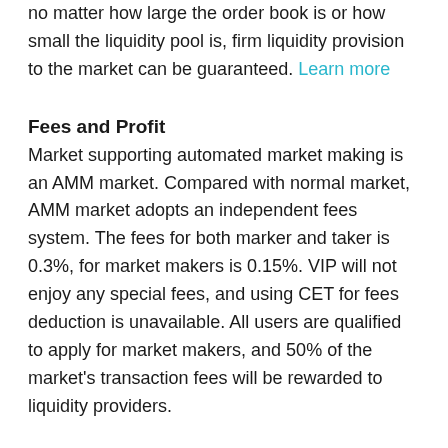no matter how large the order book is or how small the liquidity pool is, firm liquidity provision to the market can be guaranteed. Learn more
Fees and Profit
Market supporting automated market making is an AMM market. Compared with normal market, AMM market adopts an independent fees system. The fees for both marker and taker is 0.3%, for market makers is 0.15%. VIP will not enjoy any special fees, and using CET for fees deduction is unavailable. All users are qualified to apply for market makers, and 50% of the market's transaction fees will be rewarded to liquidity providers.
Characteristics of AMM
1. Bonus obtainable from automated market making User's provided liquidity will be injected into the pool for automated market making. 50% of the market's transaction